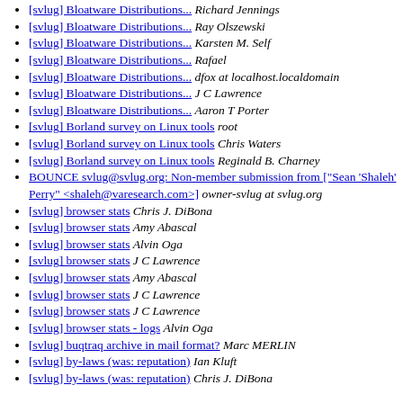[svlug] Bloatware Distributions...  Richard Jennings
[svlug] Bloatware Distributions...  Ray Olszewski
[svlug] Bloatware Distributions...  Karsten M. Self
[svlug] Bloatware Distributions...  Rafael
[svlug] Bloatware Distributions...  dfox at localhost.localdomain
[svlug] Bloatware Distributions...  J C Lawrence
[svlug] Bloatware Distributions...  Aaron T Porter
[svlug] Borland survey on Linux tools  root
[svlug] Borland survey on Linux tools  Chris Waters
[svlug] Borland survey on Linux tools  Reginald B. Charney
BOUNCE svlug@svlug.org: Non-member submission from ["Sean 'Shaleh' Perry" <shaleh@varesearch.com>]  owner-svlug at svlug.org
[svlug] browser stats  Chris J. DiBona
[svlug] browser stats  Amy Abascal
[svlug] browser stats  Alvin Oga
[svlug] browser stats  J C Lawrence
[svlug] browser stats  Amy Abascal
[svlug] browser stats  J C Lawrence
[svlug] browser stats  J C Lawrence
[svlug] browser stats - logs  Alvin Oga
[svlug] buqtraq archive in mail format?  Marc MERLIN
[svlug] by-laws (was: reputation)  Ian Kluft
[svlug] by-laws (was: reputation)  Chris J. DiBona